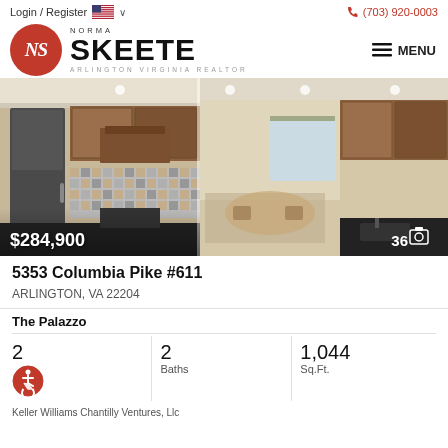Login / Register   🇺🇸 ∨   📞 (703) 920-0003
[Figure (logo): Norma Skeete NS circle logo in red with NORMA SKEETE text and ARLINGTON VIRGINIA REALTOR tagline, plus MENU button]
[Figure (photo): Interior kitchen photos of property showing wood cabinets, mosaic backsplash, dark countertops, and living area. Price overlay $284,900 bottom left, photo count 36 with camera icon bottom right.]
5353 Columbia Pike #611
ARLINGTON, VA 22204
The Palazzo
| Beds/Accessibility | Baths | Sq.Ft. |
| --- | --- | --- |
| 2 | 2 | 1,044 |
Keller Williams Chantilly Ventures, Llc